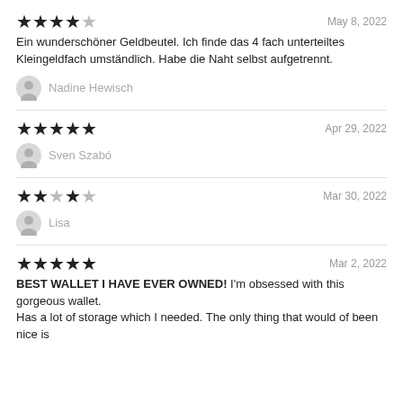★★★★☆  May 8, 2022
Ein wunderschöner Geldbeutel. Ich finde das 4 fach unterteiltes Kleingeldfach umständlich. Habe die Naht selbst aufgetrennt.
Nadine Hewisch
★★★★★  Apr 29, 2022
Sven Szabó
★★★★★  Mar 30, 2022
Lisa
★★★★★  Mar 2, 2022
BEST WALLET I HAVE EVER OWNED! I'm obsessed with this gorgeous wallet. Has a lot of storage which I needed. The only thing that would of been nice is